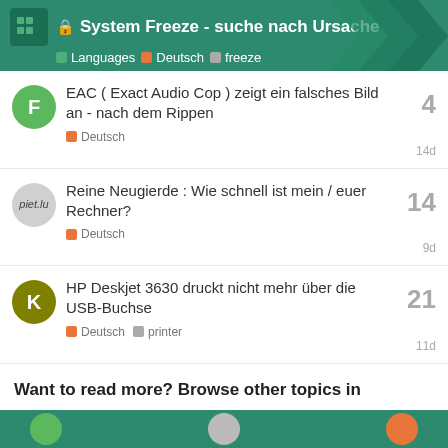System Freeze - suche nach Ursache | Languages > Deutsch > freeze
EAC ( Exact Audio Cop ) zeigt ein falsches Bild an - nach dem Rippen | Deutsch | 4 replies | 14d
Reine Neugierde : Wie schnell ist mein / euer Rechner? | Deutsch | 14 replies | 9d
HP Deskjet 3630 druckt nicht mehr über die USB-Buchse | Deutsch | printer | 21 replies | 11d
Want to read more? Browse other topics in Deutsch or view latest topics.